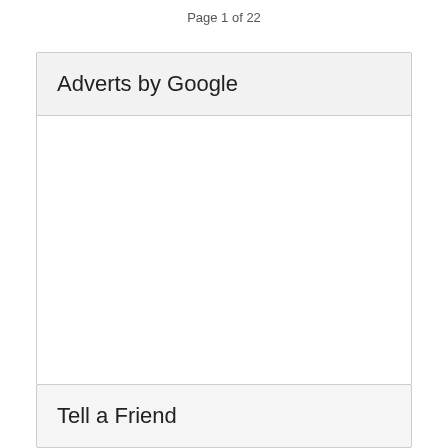Page 1 of 22
Adverts by Google
[Figure (other): Empty advertisement space placeholder]
Tell a Friend